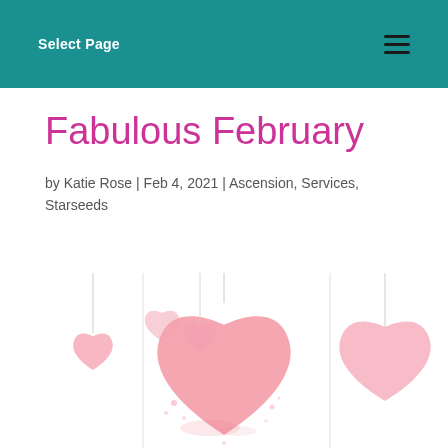Select Page
Fabulous February
by Katie Rose | Feb 4, 2021 | Ascension, Services, Starseeds
[Figure (illustration): Decorative illustration of pink watercolor hearts hanging from strings, partially visible at the bottom of the page.]